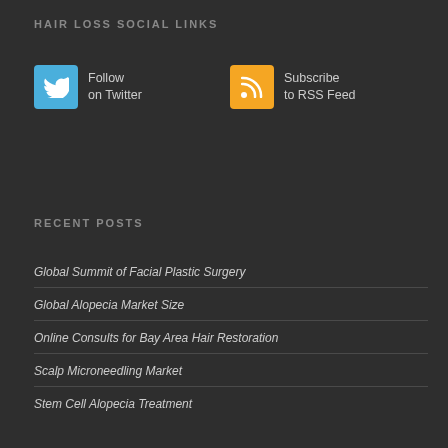HAIR LOSS SOCIAL LINKS
[Figure (infographic): Two social media buttons: Twitter (Follow on Twitter) and RSS (Subscribe to RSS Feed)]
RECENT POSTS
Global Summit of Facial Plastic Surgery
Global Alopecia Market Size
Online Consults for Bay Area Hair Restoration
Scalp Microneedling Market
Stem Cell Alopecia Treatment